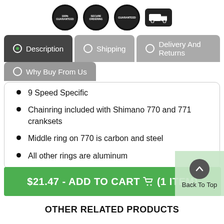[Figure (illustration): Four circular/badge icons representing guarantees and secure ordering, and a truck icon for shipping]
Description | Shipping | Delivery And Returns
Why Buy From Us
9 Speed Specific
Chainring included with Shimano 770 and 771 cranksets
Middle ring on 770 is carbon and steel
All other rings are aluminum
$21.47 - ADD TO CART 🛒 (1 ITEM)
Back To Top
OTHER RELATED PRODUCTS